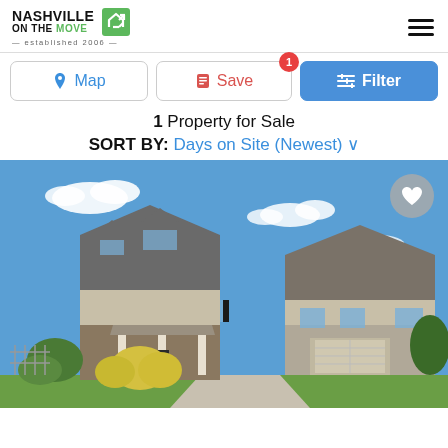[Figure (logo): Nashville On The Move logo with green house/arrow icon, established 2006]
Map
Save
Filter
1 Property for Sale
SORT BY: Days on Site (Newest) ∨
[Figure (photo): Exterior photo of a two-story brick and siding residential home with gray roof, white columns on porch, attached garage, yellow flowering bushes in front, blue sky with white clouds, neighboring house visible to the right]